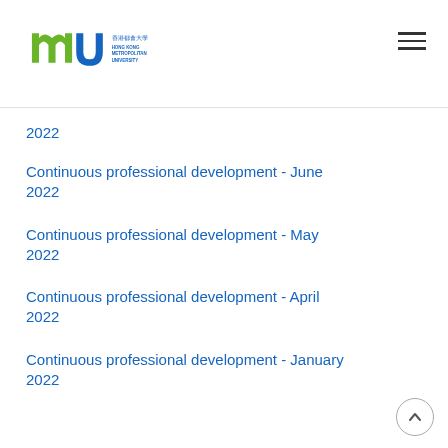Hong Kong Metropolitan University
2022
Continuous professional development - June 2022
Continuous professional development - May 2022
Continuous professional development - April 2022
Continuous professional development - January 2022